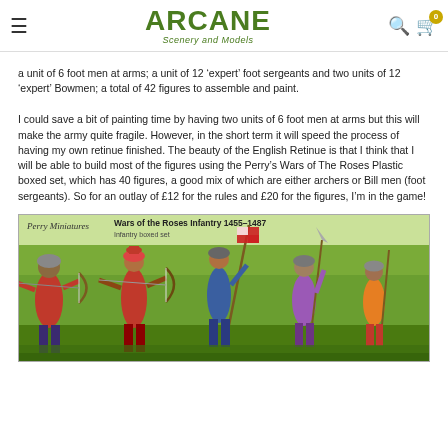ARCANE Scenery and Models
a unit of 6 foot men at arms; a unit of 12 'expert' foot sergeants and two units of 12 'expert' Bowmen; a total of 42 figures to assemble and paint.
I could save a bit of painting time by having two units of 6 foot men at arms but this will make the army quite fragile. However, in the short term it will speed the process of having my own retinue finished. The beauty of the English Retinue is that I think that I will be able to build most of the figures using the Perry's Wars of The Roses Plastic boxed set, which has 40 figures, a good mix of which are either archers or Bill men (foot sergeants). So for an outlay of £12 for the rules and £20 for the figures, I'm in the game!
[Figure (photo): Perry Miniatures box cover for Wars of the Roses Infantry 1455-1487, showing medieval archers and bill men in colorful livery against a green background.]